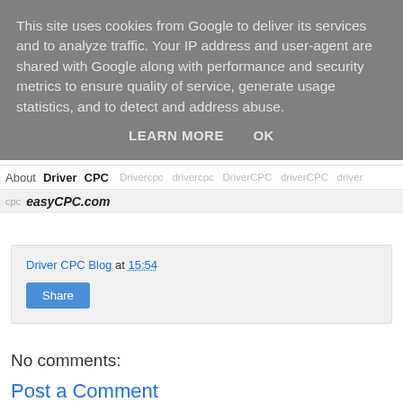This site uses cookies from Google to deliver its services and to analyze traffic. Your IP address and user-agent are shared with Google along with performance and security metrics to ensure quality of service, generate usage statistics, and to detect and address abuse.
LEARN MORE   OK
About  Driver  CPC  Drivercpc  drivercpc  DriverCPC  driverCPC  drivercpc  easyCPC.com
Driver CPC Blog at 15:54
Share
No comments:
Post a Comment